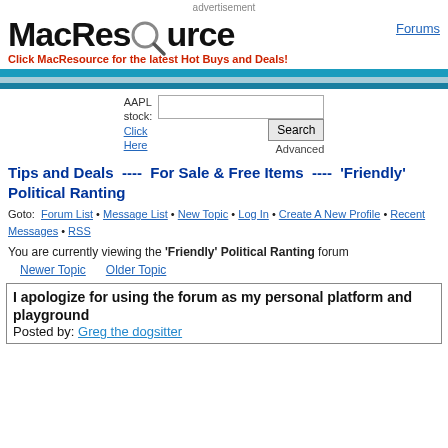advertisement
[Figure (logo): MacResource logo with magnifying glass replacing 'o', tagline: Click MacResource for the latest Hot Buys and Deals!]
Forums
AAPL stock: Click Here
Tips and Deals  ----  For Sale & Free Items  ----  'Friendly' Political Ranting
Goto: Forum List • Message List • New Topic • Log In • Create A New Profile • Recent Messages • RSS
You are currently viewing the 'Friendly' Political Ranting forum
Newer Topic    Older Topic
I apologize for using the forum as my personal platform and playground
Posted by: Greg the dogsitter